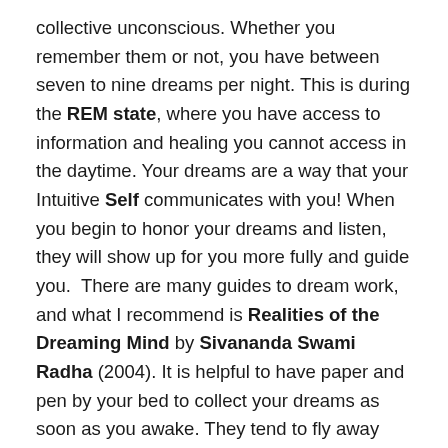collective unconscious. Whether you remember them or not, you have between seven to nine dreams per night. This is during the REM state, where you have access to information and healing you cannot access in the daytime. Your dreams are a way that your Intuitive Self communicates with you! When you begin to honor your dreams and listen, they will show up for you more fully and guide you.  There are many guides to dream work, and what I recommend is Realities of the Dreaming Mind by Sivananda Swami Radha (2004). It is helpful to have paper and pen by your bed to collect your dreams as soon as you awake. They tend to fly away until you train yourself to catch them.
These seven steps can help you to be guided by your Intuitive Voice and create healing on all levels of your being. Your next time you see intuition with your mind's